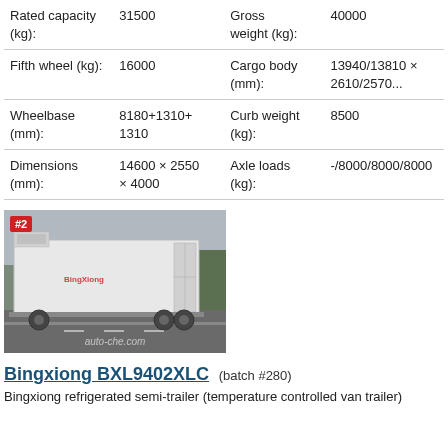| Rated capacity (kg): | 31500 | Gross weight (kg): | 40000 |
| Fifth wheel (kg): | 16000 | Cargo body (mm): | 13940/13810 × 2610/2570... |
| Wheelbase (mm): | 8180+1310+1310 | Curb weight (kg): | 8500 |
| Dimensions (mm): | 14600 × 2550 × 4000 | Axle loads (kg): | -/8000/8000/8000 |
[Figure (photo): Photo of a Bingxiong refrigerated semi-trailer (white box trailer) on a road, with badge #2 in top left corner and watermark 'auto-che.com']
Bingxiong BXL9402XLC (batch #280)
Bingxiong refrigerated semi-trailer (temperature controlled van trailer)